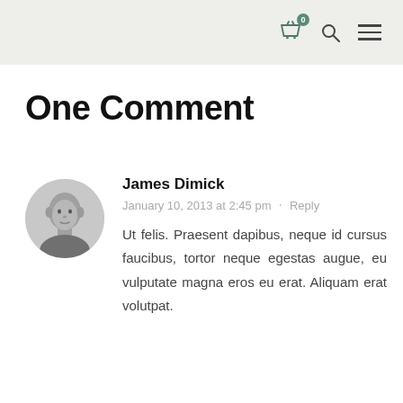Navigation bar with basket (0), search, and menu icons
One Comment
[Figure (photo): Circular avatar photo of James Dimick, a bald man, in grayscale]
James Dimick
January 10, 2013 at 2:45 pm · Reply
Ut felis. Praesent dapibus, neque id cursus faucibus, tortor neque egestas augue, eu vulputate magna eros eu erat. Aliquam erat volutpat.